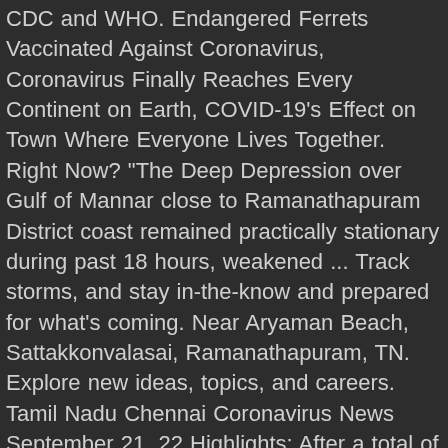CDC and WHO. Endangered Ferrets Vaccinated Against Coronavirus, Coronavirus Finally Reaches Every Continent on Earth, COVID-19's Effect on Town Where Everyone Lives Together. Right Now? "The Deep Depression over Gulf of Mannar close to Ramanathapuram District coast remained practically stationary during past 18 hours, weakened ... Track storms, and stay in-the-know and prepared for what's coming. Near Aryaman Beach, Sattakkonvalasai, Ramanathapuram, TN. Explore new ideas, topics, and careers. Tamil Nadu Chennai Coronavirus News September 21, 22 Highlights: After a total of 5,344 fresh Covid-19 cases were reported on Monday in Tamil Nadu, the state's overall tally reached 5,47,337. *Our Digital Subscription plans do not currently include the e-paper, crossword and print. The price is $30 per night ... The 44-year old woman has been admitted to a hospital in Ramanathapuram for treatment, they said. Tenkasi 103. As a subscriber, you are not only a beneficiary of our work but also its enabler. Ramanathapuram (Tamil Nadu) [India], January 4 (ANI): For the...